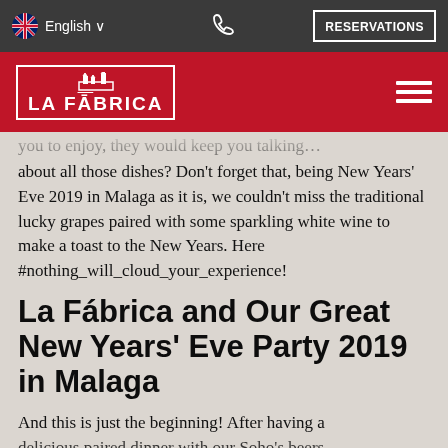English | Phone | RESERVATIONS
[Figure (logo): La Fábrica restaurant logo — white outlined box with crown/factory icon above text LA FĀBRICA on red background]
about all those dishes? Don't forget that, being New Years' Eve 2019 in Malaga as it is, we couldn't miss the traditional lucky grapes paired with some sparkling white wine to make a toast to the New Years. Here #nothing_will_cloud_your_experience!
La Fábrica and Our Great New Years' Eve Party 2019 in Malaga
And this is just the beginning! After having a delicious paired dinner with our Soho's beers